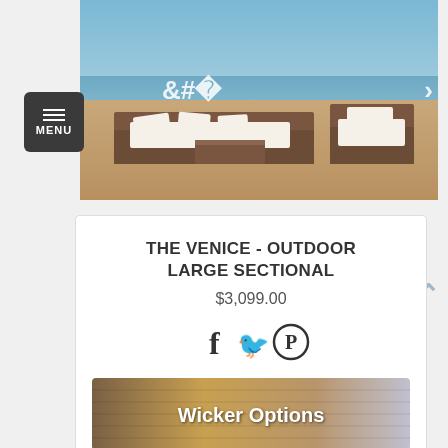[Figure (photo): Outdoor wicker sectional furniture set with white cushions on a beach, navigation arrows on sides]
THE VENICE - OUTDOOR LARGE SECTIONAL
$3,099.00
[Figure (illustration): Social media icons: Facebook (f), Twitter (bird), Pinterest (P)]
[Figure (photo): Wicker Options button with wicker texture background]
[Figure (photo): Fabric Options button with colorful fabric texture background]